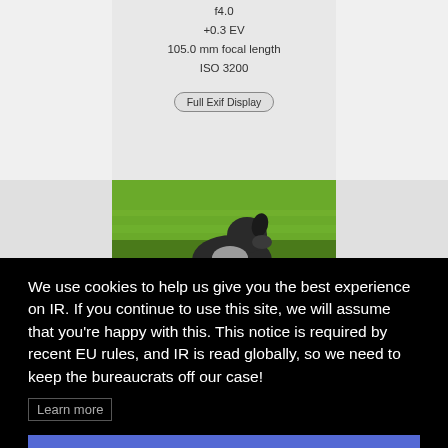f4.0
+0.3 EV
105.0 mm focal length
ISO 3200
Full Exif Display
[Figure (photo): Photo of a black and white dog sitting on green grass, viewed from behind/side]
We use cookies to help us give you the best experience on IR. If you continue to use this site, we will assume that you're happy with this. This notice is required by recent EU rules, and IR is read globally, so we need to keep the bureaucrats off our case!
Learn more
Got it!